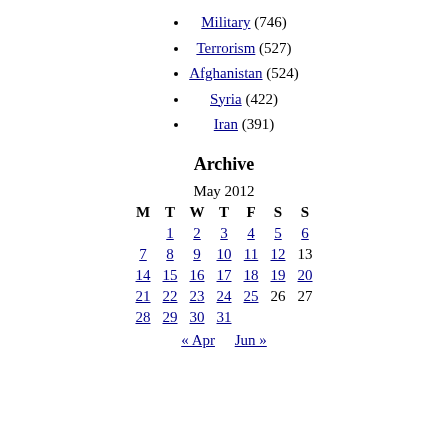Military (746)
Terrorism (527)
Afghanistan (524)
Syria (422)
Iran (391)
Archive
| M | T | W | T | F | S | S |
| --- | --- | --- | --- | --- | --- | --- |
|  | 1 | 2 | 3 | 4 | 5 | 6 |
| 7 | 8 | 9 | 10 | 11 | 12 | 13 |
| 14 | 15 | 16 | 17 | 18 | 19 | 20 |
| 21 | 22 | 23 | 24 | 25 | 26 | 27 |
| 28 | 29 | 30 | 31 |  |  |  |
« Apr   Jun »